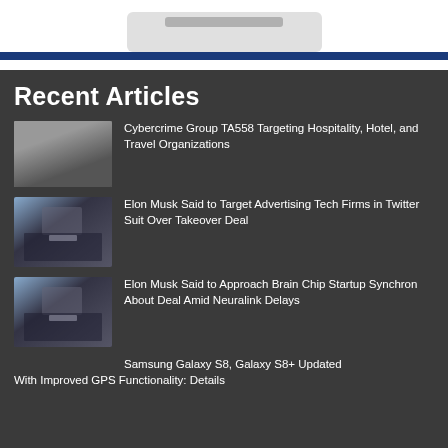[Figure (screenshot): Top section showing a gray card element on white background]
Recent Articles
Cybercrime Group TA558 Targeting Hospitality, Hotel, and Travel Organizations
Elon Musk Said to Target Advertising Tech Firms in Twitter Suit Over Takeover Deal
Elon Musk Said to Approach Brain Chip Startup Synchron About Deal Amid Neuralink Delays
Samsung Galaxy S8, Galaxy S8+ Updated With Improved GPS Functionality: Details